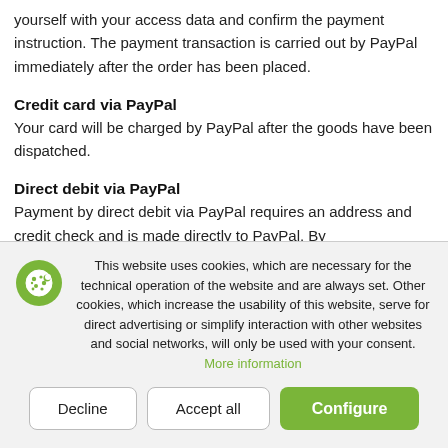yourself with your access data and confirm the payment instruction. The payment transaction is carried out by PayPal immediately after the order has been placed.
Credit card via PayPal
Your card will be charged by PayPal after the goods have been dispatched.
Direct debit via PayPal
Payment by direct debit via PayPal requires an address and credit check and is made directly to PayPal. By
This website uses cookies, which are necessary for the technical operation of the website and are always set. Other cookies, which increase the usability of this website, serve for direct advertising or simplify interaction with other websites and social networks, will only be used with your consent. More information